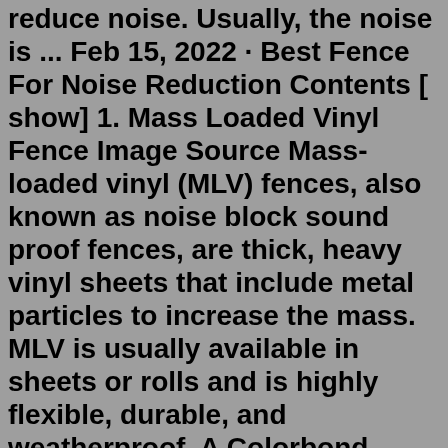reduce noise. Usually, the noise is ... Feb 15, 2022 · Best Fence For Noise Reduction Contents [ show] 1. Mass Loaded Vinyl Fence Image Source Mass-loaded vinyl (MLV) fences, also known as noise block sound proof fences, are thick, heavy vinyl sheets that include metal particles to increase the mass. MLV is usually available in sheets or rolls and is highly flexible, durable, and weatherproof. A Colorbond Acoustic Fence is functional, aesthetically pleasing, low maintenance and durable, its enhanced design increases the effectiveness in the reduction of noise pollution. The durability of the Colorbond fence comes from the double skin galvanised steel and the variety in wall thicknesses. Soundproofing your fence with the use of suitable and effective materials can be a life-changing experience in terms of noise reduction. There are a lot of different types of noise that can affect your daily life, including dog barks, children's shouts, traffic noise, as well as a neighbor's busy outdoors life. Oct 14, 2010 · A solid brick fence or similar will reflect high frequency sounds but